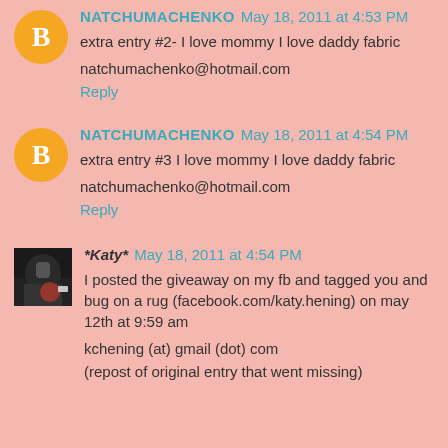NATCHUMACHENKO May 18, 2011 at 4:53 PM
extra entry #2- I love mommy I love daddy fabric
natchumachenko@hotmail.com
Reply
NATCHUMACHENKO May 18, 2011 at 4:54 PM
extra entry #3 I love mommy I love daddy fabric
natchumachenko@hotmail.com
Reply
*Katy* May 18, 2011 at 4:54 PM
I posted the giveaway on my fb and tagged you and bug on a rug (facebook.com/katy.hening) on may 12th at 9:59 am
kchening (at) gmail (dot) com
(repost of original entry that went missing)